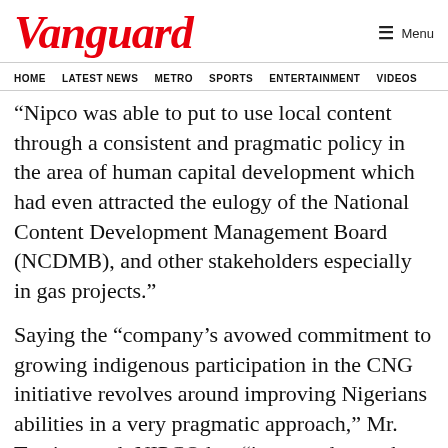Vanguard
HOME  LATEST NEWS  METRO  SPORTS  ENTERTAINMENT  VIDEOS
“Nipco was able to put to use local content through a consistent and pragmatic policy in the area of human capital development which had even attracted the eulogy of the National Content Development Management Board (NCDMB), and other stakeholders especially in gas projects.”
Saying the “company’s avowed commitment to growing indigenous participation in the CNG initiative revolves around improving Nigerians abilities in a very pragmatic approach,” Mr. Teotia noted: NIPCO has “improved over the years of our